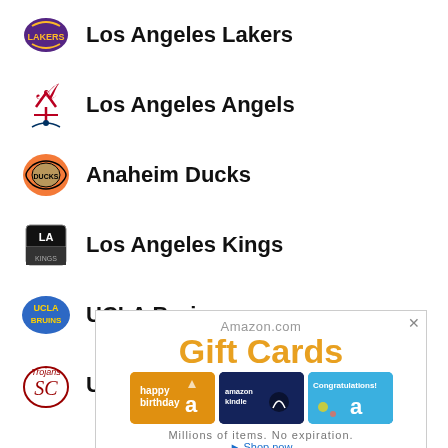Los Angeles Lakers
Los Angeles Angels
Anaheim Ducks
Los Angeles Kings
UCLA Bruins
USC Trojans
[Figure (screenshot): Amazon.com Gift Cards advertisement with happy birthday, Amazon Kindle, and Congratulations gift card images. Text reads: Amazon.com, Gift Cards, Millions of items. No expiration. Shop now.]